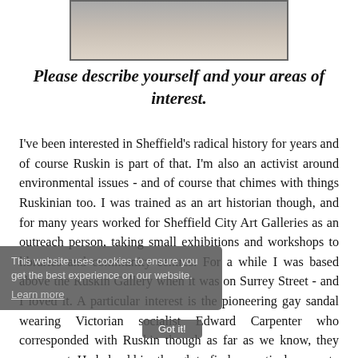[Figure (photo): Partial photo of a person, cropped at top, showing lower portion of face/neck area, with a border frame.]
Please describe yourself and your areas of interest.
I've been interested in Sheffield's radical history for years and of course Ruskin is part of that. I'm also an activist around environmental issues - and of course that chimes with things Ruskinian too. I was trained as an art historian though, and for many years worked for Sheffield City Art Galleries as an outreach person, taking small exhibitions and workshops to libraries and community centres. For a while I was based above the Ruskin Gallery when it was on Surrey Street - and I loved it. A particular interest is the pioneering gay sandal wearing Victorian socialist Edward Carpenter who corresponded with Ruskin though as far as we know, they never met. He helped him though to find a practical person to run St Georges Farm in Totley after all the fallings out there. As a writer I am a poet, script and